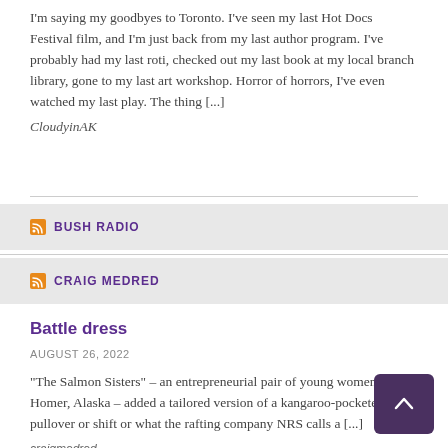I'm saying my goodbyes to Toronto. I've seen my last Hot Docs Festival film, and I'm just back from my last author program. I've probably had my last roti, checked out my last book at my local branch library, gone to my last art workshop. Horror of horrors, I've even watched my last play. The thing [...]
CloudyinAK
BUSH RADIO
CRAIG MEDRED
Battle dress
AUGUST 26, 2022
“The Salmon Sisters” – an entrepreneurial pair of young women from Homer, Alaska – added a tailored version of a kangaroo-pocketed pullover or shift or what the rafting company NRS calls a [...]
craigmedred